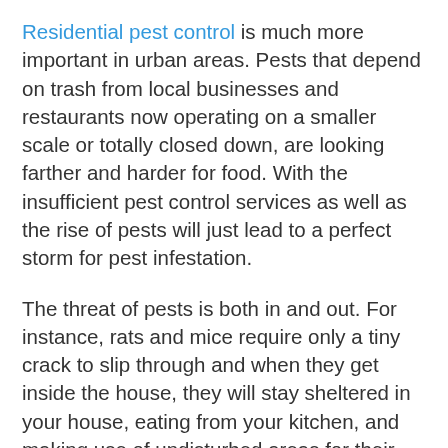Residential pest control is much more important in urban areas. Pests that depend on trash from local businesses and restaurants now operating on a smaller scale or totally closed down, are looking farther and harder for food. With the insufficient pest control services as well as the rise of pests will just lead to a perfect storm for pest infestation.
The threat of pests is both in and out. For instance, rats and mice require only a tiny crack to slip through and when they get inside the house, they will stay sheltered in your house, eating from your kitchen, and making use of undisturbed areas for their bathrooms and bedrooms. Rodent droppings could carry infectious diseases and the problem and damage they inflict on the drywall, electrical...